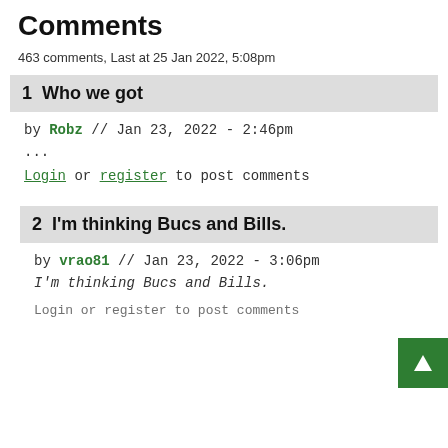Comments
463 comments, Last at 25 Jan 2022, 5:08pm
1  Who we got
by Robz // Jan 23, 2022 - 2:46pm
...
Login or register to post comments
2  I'm thinking Bucs and Bills.
by vrao81 // Jan 23, 2022 - 3:06pm
I'm thinking Bucs and Bills.
Login or register to post comments